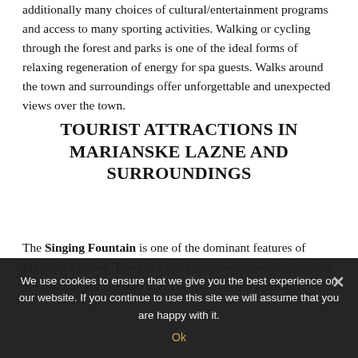additionally many choices of cultural/entertainment programs and access to many sporting activities. Walking or cycling through the forest and parks is one of the ideal forms of relaxing regeneration of energy for spa guests. Walks around the town and surroundings offer unforgettable and unexpected views over the town.
TOURIST ATTRACTIONS IN MARIANSKE LAZNE AND SURROUNDINGS
The Singing Fountain is one of the dominant features of Mariánské Lázně. There is a daily program of music played as the fountain springs into life. The fountain is a circular…
We use cookies to ensure that we give you the best experience on our website. If you continue to use this site we will assume that you are happy with it.